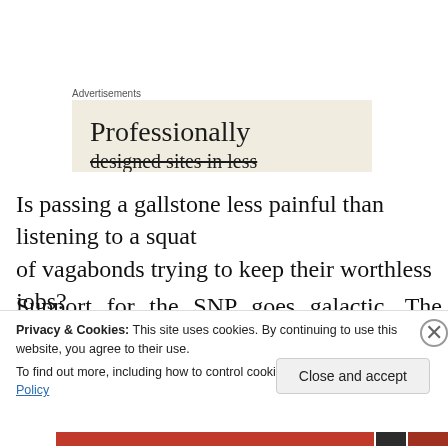Advertisements
[Figure (illustration): Advertisement banner with beige background showing text 'Professionally' and 'designed sites in less']
Is passing a gallstone less painful than listening to a squat of vagabonds trying to keep their worthless jobs?
Support for the SNP goes galactic. The British Establishment is unnerved. What to do next? How can
Privacy & Cookies: This site uses cookies. By continuing to use this website, you agree to their use.
To find out more, including how to control cookies, see here: Cookie Policy
Close and accept